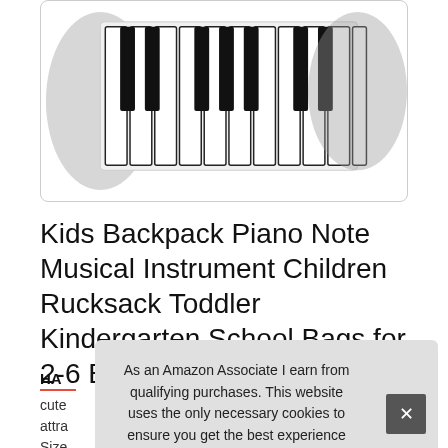[Figure (photo): Product image of a kids backpack with piano keyboard design shown from the front, partially cropped at top, displayed in a rounded rectangle container]
Kids Backpack Piano Note Musical Instrument Children Rucksack Toddler Kindergarten School Bags for 2-6 Boys Girls 30 CM
HA
cute
attra
Size
As an Amazon Associate I earn from qualifying purchases. This website uses the only necessary cookies to ensure you get the best experience on our website. More information